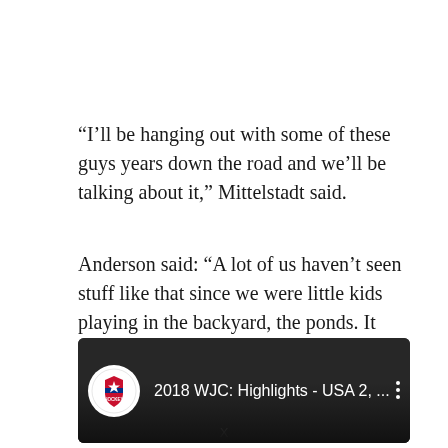“I’ll be hanging out with some of these guys years down the road and we’ll be talking about it,” Mittelstadt said.
Anderson said: “A lot of us haven’t seen stuff like that since we were little kids playing in the backyard, the ponds. It made (for) another interesting experience.”
[Figure (screenshot): YouTube video thumbnail showing USA Hockey logo and title '2018 WJC: Highlights - USA 2, ...' with dark background showing hockey players]
X